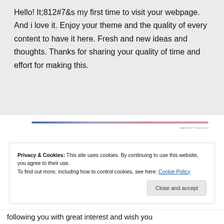Hello! It;812#7&s my first time to visit your webpage. And i love it. Enjoy your theme and the quality of every content to have it here. Fresh and new ideas and thoughts. Thanks for sharing your quality of time and effort for making this.
[Figure (other): Gradient horizontal line (blue to pink) with 'REPORT THIS AD' label on the right]
Privacy & Cookies: This site uses cookies. By continuing to use this website, you agree to their use.
To find out more, including how to control cookies, see here: Cookie Policy
Close and accept
following you with great interest and wish you